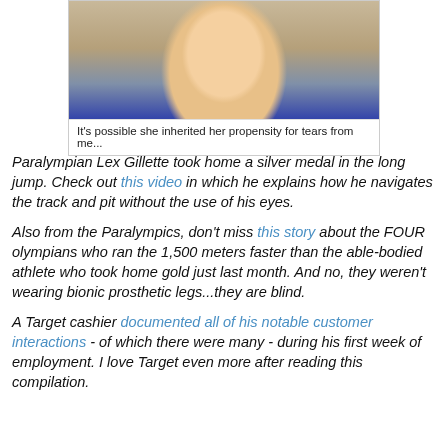[Figure (photo): A young blonde girl crying, with eyes squinted shut, in front of a brick wall background, wearing a dark blue top with a pink neckline.]
It's possible she inherited her propensity for tears from me...
Paralympian Lex Gillette took home a silver medal in the long jump. Check out this video in which he explains how he navigates the track and pit without the use of his eyes.
Also from the Paralympics, don't miss this story about the FOUR olympians who ran the 1,500 meters faster than the able-bodied athlete who took home gold just last month. And no, they weren't wearing bionic prosthetic legs...they are blind.
A Target cashier documented all of his notable customer interactions - of which there were many - during his first week of employment. I love Target even more after reading this compilation.